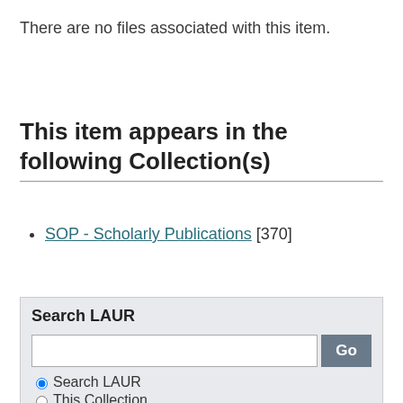There are no files associated with this item.
This item appears in the following Collection(s)
SOP - Scholarly Publications [370]
Search LAUR
Search LAUR (radio button, selected)
This Collection (radio button)